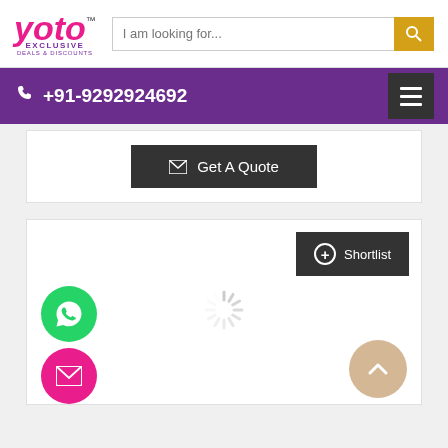[Figure (logo): Yoto Exclusive logo in pink cursive with purple subtitle text]
I am looking for...
+91-9292924692
Get A Quote
Shortlist
[Figure (infographic): Loading spinner animation]
[Figure (illustration): WhatsApp floating button (green circle)]
[Figure (illustration): Email floating button (pink circle)]
[Figure (illustration): Scroll to top button (tan/beige circle)]